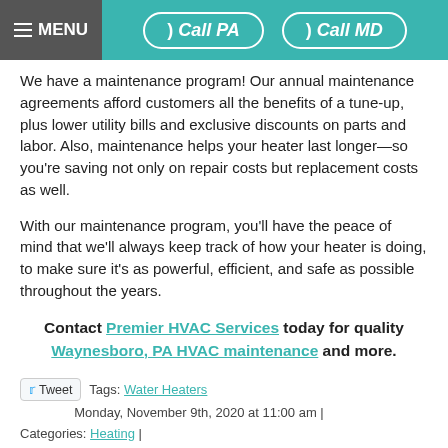MENU | Call PA | Call MD
We have a maintenance program! Our annual maintenance agreements afford customers all the benefits of a tune-up, plus lower utility bills and exclusive discounts on parts and labor. Also, maintenance helps your heater last longer—so you're saving not only on repair costs but replacement costs as well.
With our maintenance program, you'll have the peace of mind that we'll always keep track of how your heater is doing, to make sure it's as powerful, efficient, and safe as possible throughout the years.
Contact Premier HVAC Services today for quality Waynesboro, PA HVAC maintenance and more.
Tweet  Tags: Water Heaters  Monday, November 9th, 2020 at 11:00 am | Categories: Heating |